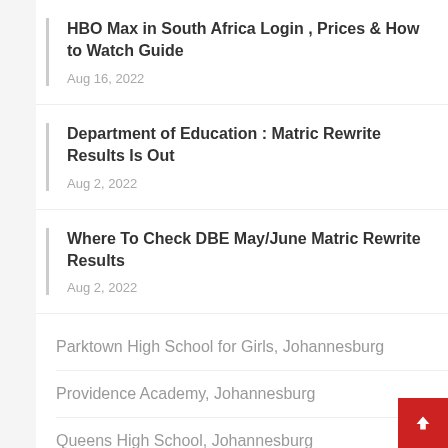HBO Max in South Africa Login , Prices & How to Watch Guide
Aug 16, 2022
Department of Education : Matric Rewrite Results Is Out
Aug 2, 2022
Where To Check DBE May/June Matric Rewrite Results
Aug 2, 2022
Parktown High School for Girls, Johannesburg
Providence Academy, Johannesburg
Queens High School, Johannesburg
Randfontein High School, Johannesburg